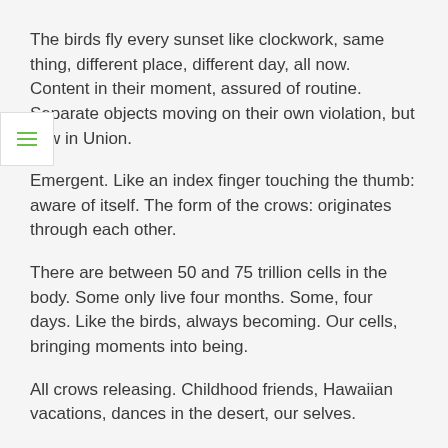The birds fly every sunset like clockwork, same thing, different place, different day, all now.   Content in their moment, assured of routine. Separate objects moving on their own violation, but flow in Union.
Emergent. Like an index finger touching the thumb: aware of itself. The form of the crows: originates through each other.
There are between 50 and 75 trillion cells in the body. Some only live four months. Some, four days. Like the birds, always becoming. Our cells, bringing moments into being.
All crows releasing. Childhood friends, Hawaiian vacations, dances in the desert, our selves.
This moment. This moment. This moment is the